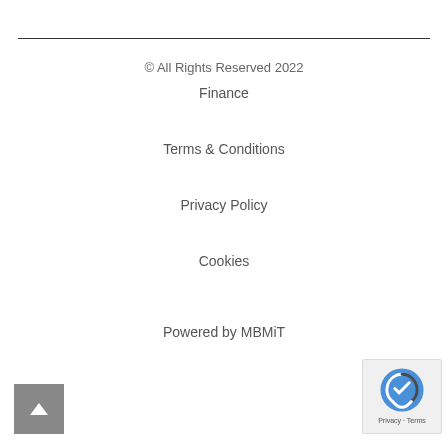© All Rights Reserved 2022
Finance
Terms & Conditions
Privacy Policy
Cookies
Powered by MBMiT